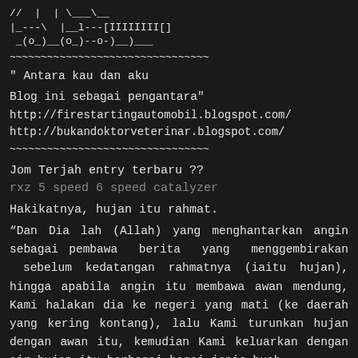// | | \ ___ \__
|_---\ |__l---[IIIIIIII[]
_(o_)__(o_)--o-)__)___
~~~~~~~~~~~~~~~~~~~~~~~~~~~~~~~
" Antara kau dan aku
Blog ini sebagai pengantara"
http://firestartingautomobil.blogspot.com/
http://bukandoktorveterinar.blogspot.com/
~~~~~~~~~~~~~~~~~~~~~~~~~~~~~~~
Jom Terjah entry terbaru ??
rxz 5 speed 6 speed catalyzer
Hakikatnya, hujan itu rahmat.
“Dan Dia lah (Allah) yang menghantarkan angin sebagai pembawa berita yang menggembirakan sebelum kedatangan rahmatnya (iaitu hujan), hingga apabila angin itu membawa awan mendung, Kami halakan dia ke negeri yang mati (ke daerah yang kering kontang), lalu Kami turunkan hujan dengan awan itu, kemudian Kami keluarkan dengan air hujan itu berbagai-bagai jenis buah-buahan. Demikianlah pula Kami mengeluarkan